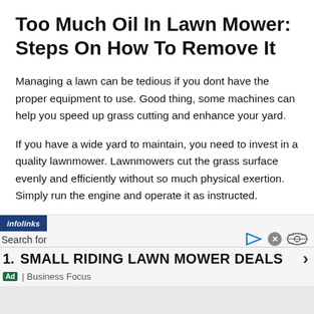Too Much Oil In Lawn Mower: Steps On How To Remove It
Managing a lawn can be tedious if you dont have the proper equipment to use. Good thing, some machines can help you speed up grass cutting and enhance your yard.
If you have a wide yard to maintain, you need to invest in a quality lawnmower. Lawnmowers cut the grass surface evenly and efficiently without so much physical exertion. Simply run the engine and operate it as instructed.
[Figure (screenshot): Infolinks advertisement unit with search bar showing '1. SMALL RIDING LAWN MOWER DEALS' sponsored by Business Focus]